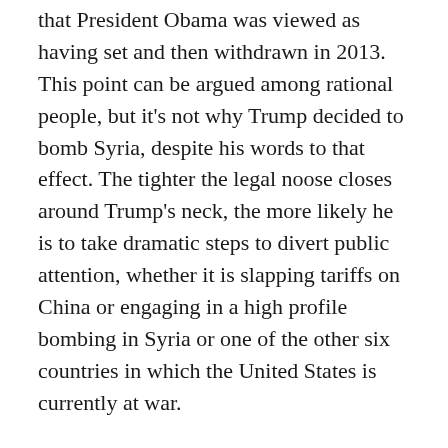that President Obama was viewed as having set and then withdrawn in 2013. This point can be argued among rational people, but it's not why Trump decided to bomb Syria, despite his words to that effect. The tighter the legal noose closes around Trump's neck, the more likely he is to take dramatic steps to divert public attention, whether it is slapping tariffs on China or engaging in a high profile bombing in Syria or one of the other six countries in which the United States is currently at war.
There are real things that the United States can and should do to stop the suffering of the Syrian people. Bombing their country, under whatever rationale, is not one of them. The Trump administration could let Syrian refugees into the United States in large numbers. It could contribute generously to United